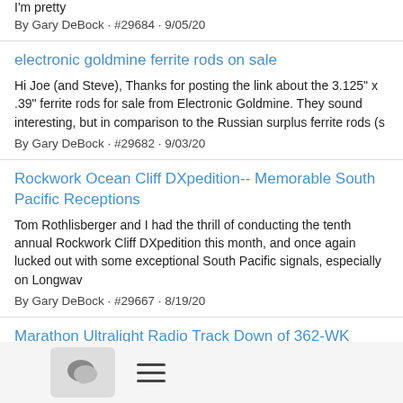I'm pretty
By Gary DeBock · #29684 · 9/05/20
electronic goldmine ferrite rods on sale
Hi Joe (and Steve), Thanks for posting the link about the 3.125" x .39" ferrite rods for sale from Electronic Goldmine. They sound interesting, but in comparison to the Russian surplus ferrite rods (s
By Gary DeBock · #29682 · 9/03/20
Rockwork Ocean Cliff DXpedition-- Memorable South Pacific Receptions
Tom Rothlisberger and I had the thrill of conducting the tenth annual Rockwork Cliff DXpedition this month, and once again lucked out with some exceptional South Pacific signals, especially on Longwav
By Gary DeBock · #29667 · 8/19/20
Marathon Ultralight Radio Track Down of 362-WK (25 watts at 11,017 km)
[Figure (infographic): Bottom navigation bar with a speech bubble chat icon button and a hamburger menu icon]